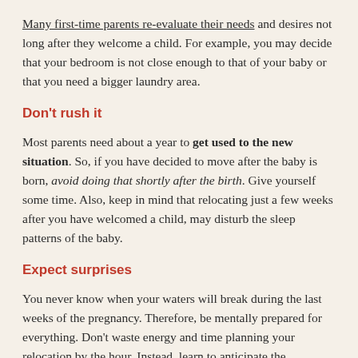Many first-time parents re-evaluate their needs and desires not long after they welcome a child. For example, you may decide that your bedroom is not close enough to that of your baby or that you need a bigger laundry area.
Don't rush it
Most parents need about a year to get used to the new situation. So, if you have decided to move after the baby is born, avoid doing that shortly after the birth. Give yourself some time. Also, keep in mind that relocating just a few weeks after you have welcomed a child, may disturb the sleep patterns of the baby.
Expect surprises
You never know when your waters will break during the last weeks of the pregnancy. Therefore, be mentally prepared for everything. Don't waste energy and time planning your relocation by the hour. Instead, learn to anticipate the unexpected.